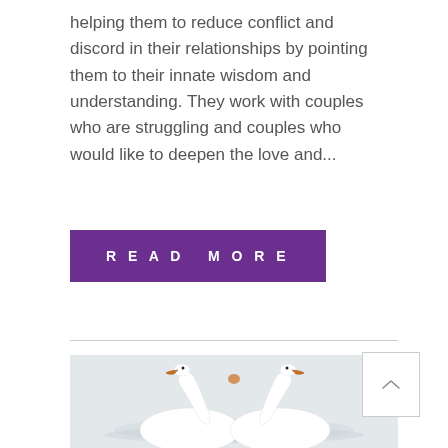helping them to reduce conflict and discord in their relationships by pointing them to their innate wisdom and understanding. They work with couples who are struggling and couples who would like to deepen the love and...
READ MORE
[Figure (photo): Two white swans facing each other with necks forming a heart shape, floating on calm water]